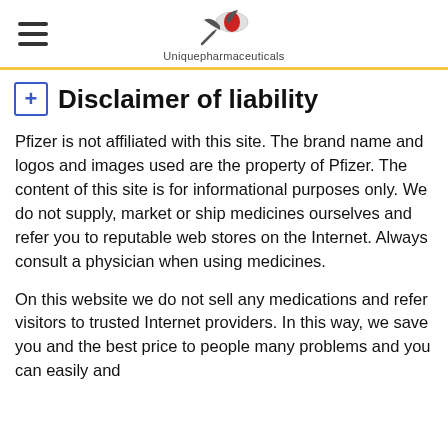Uniquepharmaceuticals
Disclaimer of liability
Pfizer is not affiliated with this site. The brand name and logos and images used are the property of Pfizer. The content of this site is for informational purposes only. We do not supply, market or ship medicines ourselves and refer you to reputable web stores on the Internet. Always consult a physician when using medicines.
On this website we do not sell any medications and refer visitors to trusted Internet providers. In this way, we save you and the best price to people many problems and you can easily and